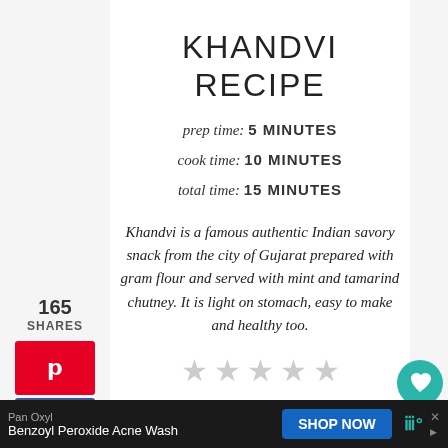KHANDVI RECIPE
prep time: 5 MINUTES
cook time: 10 MINUTES
total time: 15 MINUTES
Khandvi is a famous authentic Indian savory snack from the city of Gujarat prepared with gram flour and served with mint and tamarind chutney. It is light on stomach, easy to make and healthy too.
[Figure (other): Five empty star rating icons]
No Ratings
165 SHARES
[Figure (other): Social share buttons: Pinterest, Facebook, Twitter]
[Figure (other): Heart (like) button with count 166 and share button]
Pan Oxyl
Benzoyl Peroxide Acne Wash
SHOP NOW